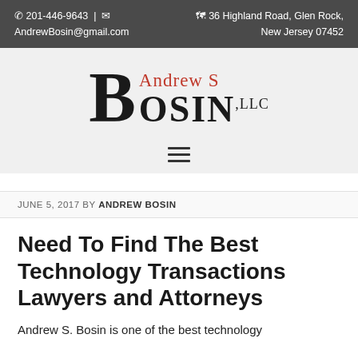📞 201-446-9643  |  ✉  AndrewBosin@gmail.com    🗺 36 Highland Road, Glen Rock, New Jersey 07452
[Figure (logo): Andrew S Bosin LLC law firm logo with large decorative B and firm name in serif font]
JUNE 5, 2017 BY ANDREW BOSIN
Need To Find The Best Technology Transactions Lawyers and Attorneys
Andrew S. Bosin is one of the best technology